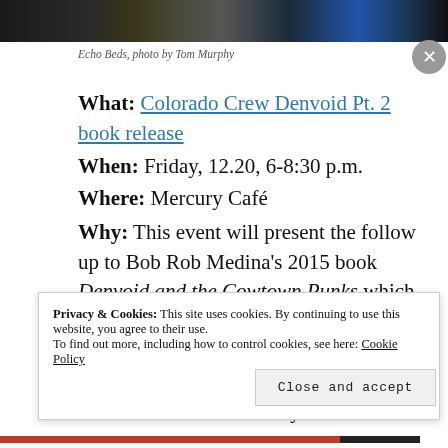[Figure (photo): Dark photo strip showing Echo Beds band/venue scene]
Echo Beds, photo by Tom Murphy
What: Colorado Crew Denvoid Pt. 2 book release
When: Friday, 12.20, 6-8:30 p.m.
Where: Mercury Café
Why: This event will present the follow up to Bob Rob Medina's 2015 book Denvoid and the Cowtown Punks which documented the Denver punk and underground music scene from 1982-1987. This volume, Colorado Crew: Denvoid Pt. 2 covers the years 1988-1996 in which punk
Privacy & Cookies: This site uses cookies. By continuing to use this website, you agree to their use.
To find out more, including how to control cookies, see here: Cookie Policy
Close and accept